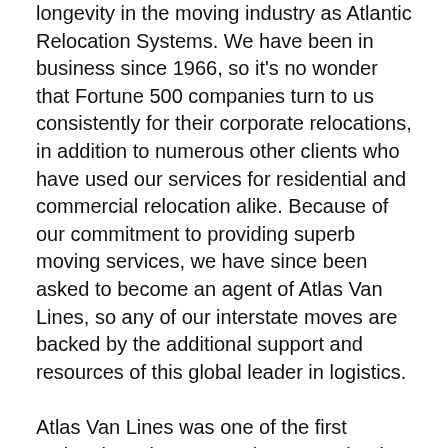longevity in the moving industry as Atlantic Relocation Systems. We have been in business since 1966, so it's no wonder that Fortune 500 companies turn to us consistently for their corporate relocations, in addition to numerous other clients who have used our services for residential and commercial relocation alike. Because of our commitment to providing superb moving services, we have since been asked to become an agent of Atlas Van Lines, so any of our interstate moves are backed by the additional support and resources of this global leader in logistics.
Atlas Van Lines was one of the first national moving companies to require that all their drivers pass background checks, and the drivers for Atlantic Relocation Systems are of no exception. Our movers are also highly trained using the knowledge we have gained in our decades in the moving industry. This is why we have specialized teams of movers that are able to assist with virtually any type of cross-country relocation,